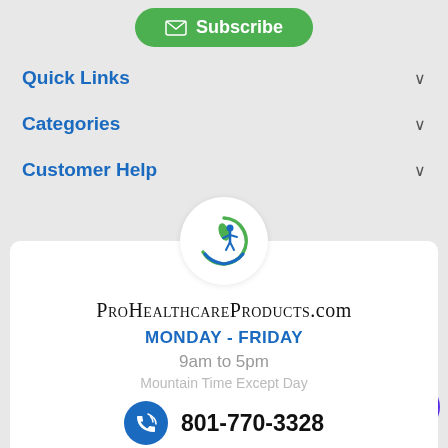[Figure (other): Green Subscribe button with envelope icon]
Quick Links
Categories
Customer Help
[Figure (logo): ProHealthcareProducts.com circular logo with green leaf and blue hands]
ProHealthcareProducts.com
MONDAY - FRIDAY
9am to 5pm
Mountain Time Except Day
801-770-3328